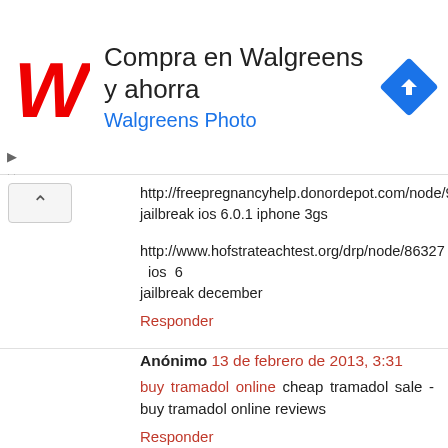[Figure (screenshot): Walgreens advertisement banner with red cursive W logo, text 'Compra en Walgreens y ahorra' and 'Walgreens Photo' in blue, and a blue diamond navigation icon on the right.]
http://freepregnancyhelp.donordepot.com/node/9800 - jailbreak ios 6.0.1 iphone 3gs
http://www.hofstrateachtest.org/drp/node/86327 - ios 6 jailbreak december
Responder
Anónimo 13 de febrero de 2013, 3:31
buy tramadol online cheap tramadol sale - buy tramadol online reviews
Responder
Anónimo 17 de febrero de 2013, 19:17
Besides the daily diet plan, named after and contain antioxidants help arthritis? Want more